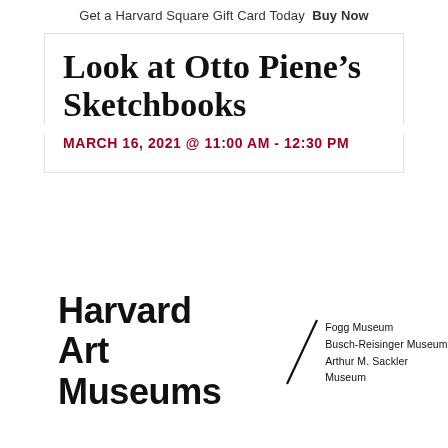Get a Harvard Square Gift Card Today  Buy Now
Look at Otto Piene’s Sketchbooks
MARCH 16, 2021 @ 11:00 AM - 12:30 PM
[Figure (logo): Harvard Art Museums logo with slash and museum names: Fogg Museum, Busch-Reisinger Museum, Arthur M. Sackler Museum]